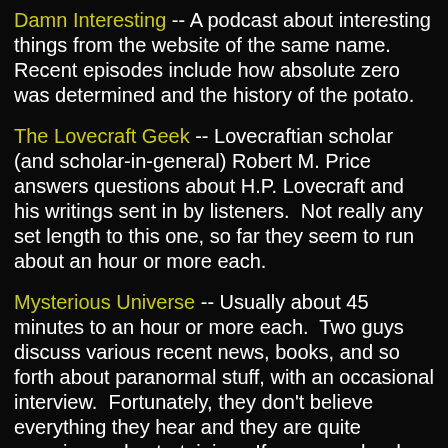Damn Interesting -- A podcast about interesting things from the website of the same name. Recent episodes include how absolute zero was determined and the history of the potato.
The Lovecraft Geek -- Lovecraftian scholar (and scholar-in-general) Robert M. Price answers questions about H.P. Lovecraft and his writings sent in by listeners. Not really any set length to this one, so far they seem to run about an hour or more each.
Mysterious Universe -- Usually about 45 minutes to an hour or more each. Two guys discuss various recent news, books, and so forth about paranormal stuff, with an occasional interview. Fortunately, they don't believe everything they hear and they are quite amusing and entertaining. If you are a hard-core skeptic, you probably won't care much for it, but if you can suspend your disbelief for a little while for the sake of entertainment, it's pretty good.
The Paranormal Podcast -- On the other hand, this one